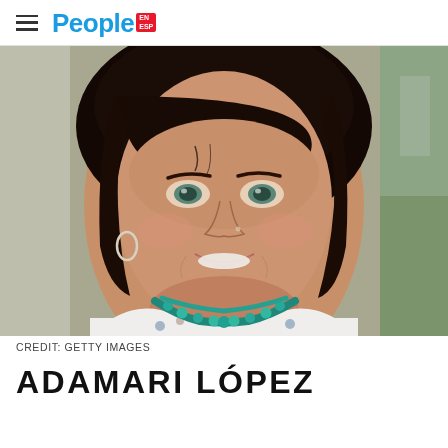People en Español (logo)
[Figure (photo): Close-up portrait of Adamari López smiling, dark hair with bangs, light eyes, wearing a teal/turquoise beaded necklace and a floral white top. Background is slightly blurred outdoor setting.]
CREDIT: GETTY IMAGES
ADAMARI LÓPEZ